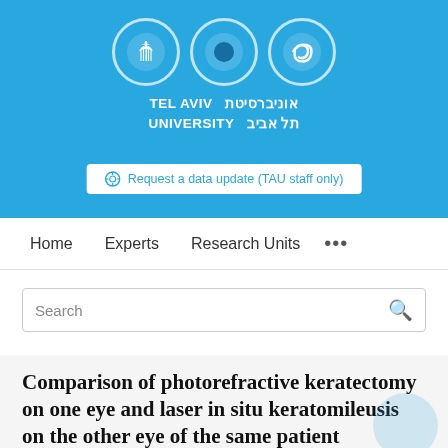[Figure (logo): Tel Aviv University logo with three circular icons and bilingual text in English and Hebrew on a blue background]
Request a data update (TAU staff only)
Home   Experts   Research Units   ...
Search
Comparison of photorefractive keratectomy on one eye and laser in situ keratomileusis on the other eye of the same patient